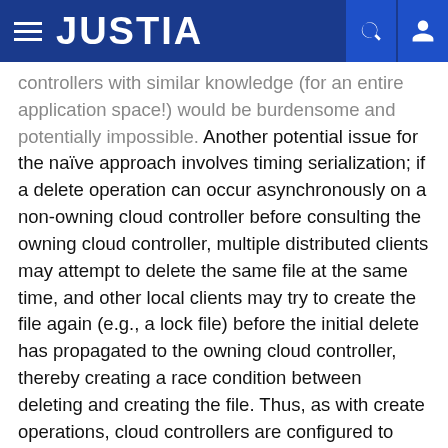JUSTIA
controllers with similar knowledge (for an entire application space!) would be burdensome and potentially impossible. Another potential issue for the naïve approach involves timing serialization; if a delete operation can occur asynchronously on a non-owning cloud controller before consulting the owning cloud controller, multiple distributed clients may attempt to delete the same file at the same time, and other local clients may try to create the file again (e.g., a lock file) before the initial delete has propagated to the owning cloud controller, thereby creating a race condition between deleting and creating the file. Thus, as with create operations, cloud controllers are configured to ensure that operation order is preserved and that applications do not fail in unexpected ways.
FIG. 9 illustrates an exemplary set of operations that occur in the context of a local cloud controller 900 when